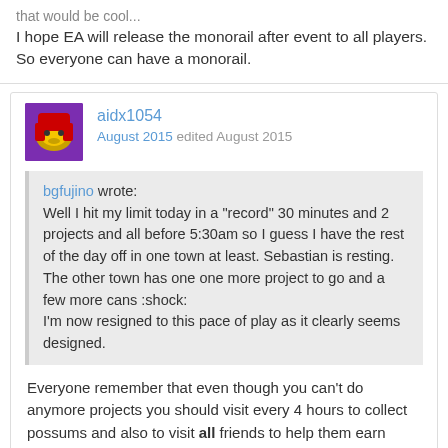I hope EA will release the monorail after event to all players. So everyone can have a monorail.
aidx1054
August 2015 edited August 2015
bgfujino wrote:
Well I hit my limit today in a "record" 30 minutes and 2 projects and all before 5:30am so I guess I have the rest of the day off in one town at least. Sebastian is resting. The other town has one one more project to go and a few more cans :shock:
I'm now resigned to this pace of play as it clearly seems designed.
Everyone remember that even though you can't do anymore projects you should visit every 4 hours to collect possums and also to visit all friends to help them earn blueprints too (540 bp for you, 3 each visit for them)